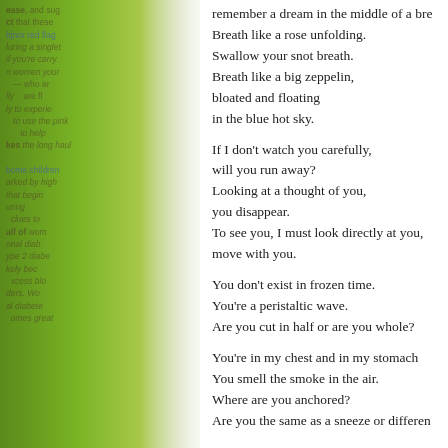[Figure (photo): Green apple photograph forming the left half of a book spread, with faded overlaid text from adjacent page]
remember a dream in the middle of a bre...
Breath like a rose unfolding.
Swallow your snot breath.
Breath like a big zeppelin,
bloated and floating
in the blue hot sky.

If I don't watch you carefully,
will you run away?
Looking at a thought of you,
you disappear.
To see you, I must look directly at you,
move with you.

You don't exist in frozen time.
You're a peristaltic wave.
Are you cut in half or are you whole?

You're in my chest and in my stomach
You smell the smoke in the air.
Where are you anchored?
Are you the same as a sneeze or differen...